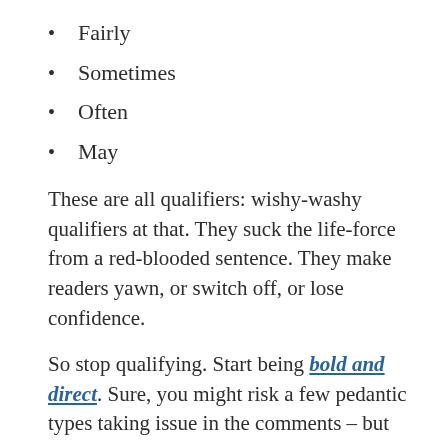Fairly
Sometimes
Often
May
These are all qualifiers: wishy-washy qualifiers at that. They suck the life-force from a red-blooded sentence. They make readers yawn, or switch off, or lose confidence.
So stop qualifying. Start being bold and direct. Sure, you might risk a few pedantic types taking issue in the comments – but